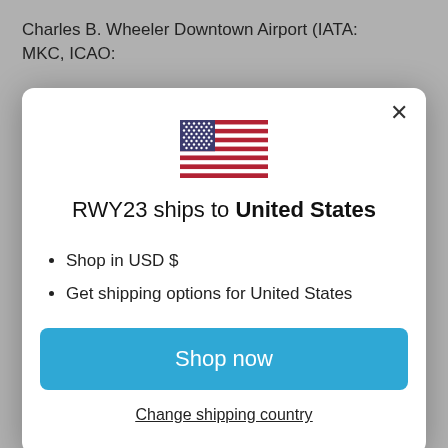Charles B. Wheeler Downtown Airport (IATA: MKC, ICAO:
[Figure (screenshot): Modal dialog showing US flag, 'RWY23 ships to United States', bullet points for USD and shipping, Shop now button, and Change shipping country link]
this website, actual colors may vary.
Brand names, logos and trademarks used herein remain